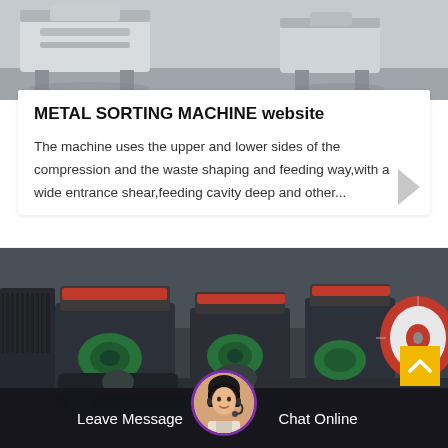[Figure (photo): Industrial metal sorting machine, white/grey colored machinery in a warehouse setting]
METAL SORTING MACHINE website
The machine uses the upper and lower sides of the compression and the waste shaping and feeding way,with a wide entrance shear,feeding cavity deep and other...
[Figure (photo): Metal shredding/sorting machines on a factory floor — dark grey machines with green and red accents, industrial setting]
Leave Message  Chat Online